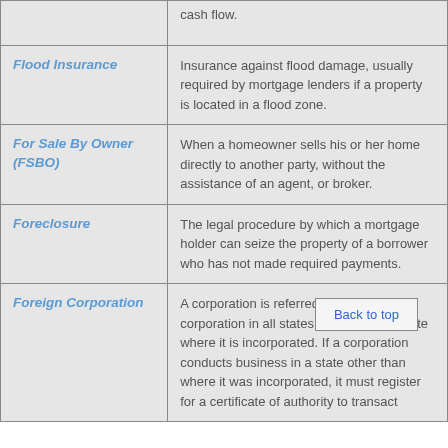| Term | Definition |
| --- | --- |
| (continued from above) | cash flow. |
| Flood Insurance | Insurance against flood damage, usually required by mortgage lenders if a property is located in a flood zone. |
| For Sale By Owner (FSBO) | When a homeowner sells his or her home directly to another party, without the assistance of an agent, or broker. |
| Foreclosure | The legal procedure by which a mortgage holder can seize the property of a borrower who has not made required payments. |
| Foreign Corporation | A corporation is referred to as a foreign corporation in all states except for the state where it is incorporated. If a corporation conducts business in a state other than where it was incorporated, it must register for a certificate of authority to transact business in the other states in which it... |